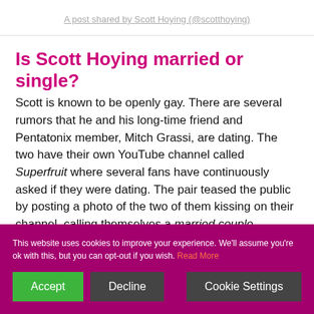A post shared by Scott Hoying (@scotthoying)
Is Scott Hoying married or single?
Scott is known to be openly gay. There are several rumors that he and his long-time friend and Pentatonix member, Mitch Grassi, are dating. The two have their own YouTube channel called Superfruit where several fans have continuously asked if they were dating. The pair teased the public by posting a photo of the two of them kissing on their channel, calling themselves a married couple.
This website uses cookies to improve your experience. We'll assume you're ok with this, but you can opt-out if you wish. Read More
Accept
Decline
Cookie Settings